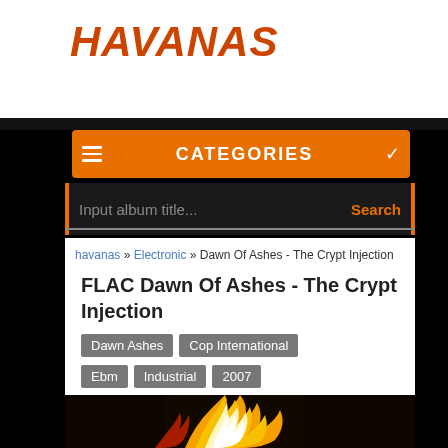HAVANAS
CATEGORIES
Input album title...
havanas » Electronic » Dawn Of Ashes - The Crypt Injection
FLAC Dawn Of Ashes - The Crypt Injection
Dawn Ashes
Cop International
Ebm
Industrial
2007
[Figure (photo): Dark photo with fire/flame on black background, album art for Dawn Of Ashes - The Crypt Injection]